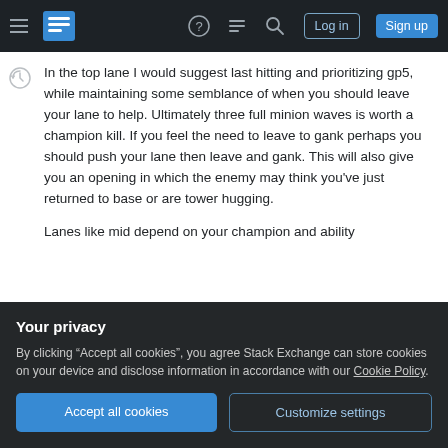Stack Exchange navigation bar with hamburger menu, logo, help, chat, search icons, Log in and Sign up buttons
In the top lane I would suggest last hitting and prioritizing gp5, while maintaining some semblance of when you should leave your lane to help. Ultimately three full minion waves is worth a champion kill. If you feel the need to leave to gank perhaps you should push your lane then leave and gank. This will also give you an opening in which the enemy may think you've just returned to base or are tower hugging.
Lanes like mid depend on your champion and ability
Your privacy
By clicking “Accept all cookies”, you agree Stack Exchange can store cookies on your device and disclose information in accordance with our Cookie Policy.
probably already a step behind.